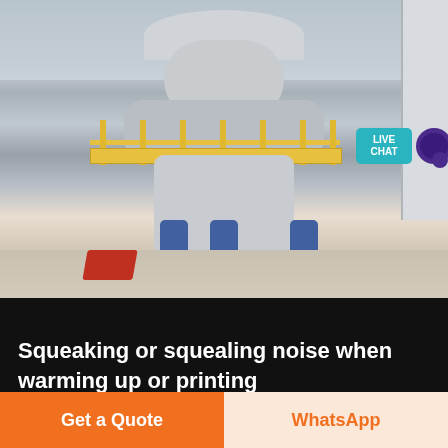[Figure (photo): Industrial cone crusher / mill machine in a factory setting, with yellow walkway railings, blue hydraulic cylinders, and a concrete floor. A live chat bubble is visible in the top right corner.]
Squeaking or squealing noise when warming up or printing
- If no noise occurs, go to step 3 3 Test the machine by making a copy: a Place three sheets of paper in the ADF face up and top edge first Adjust the paper guides to the